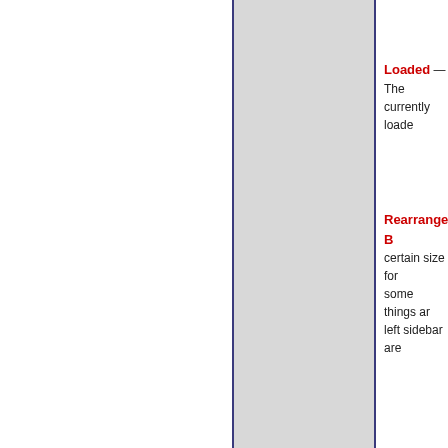Loaded — The currently loade
Rearranged B certain size for some things are left sidebar are
Instructions — instructions to of animated GI observing com obvious that a out of the app. settings, but m understanding the default sett well for them. S photos in the h difficulty getting